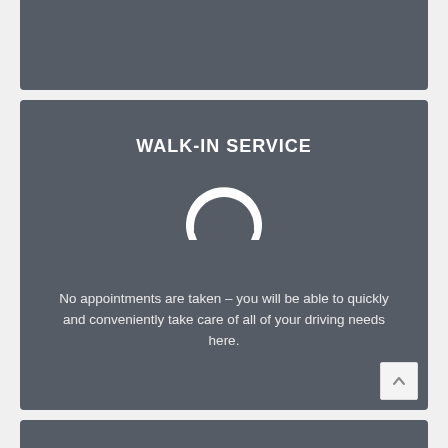WALK-IN SERVICE
[Figure (illustration): Speedometer/gauge icon in white on dark background]
No appointments are taken – you will be able to quickly and conveniently take care of all of your driving needs here.